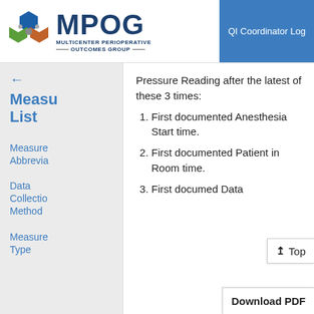[Figure (logo): MPOG Multicenter Perioperative Outcomes Group logo with hexagonal icon]
QI Coordinator Log
Pressure Reading after the latest of these 3 times:
1. First documented Anesthesia Start time.
2. First documented Patient in Room time.
3. First documented Data
Measure List
Measure Abbreviation
Data Collection Method
Measure Type